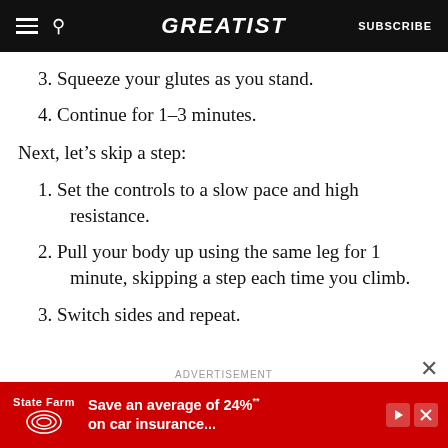GREATIST | SUBSCRIBE
3. Squeeze your glutes as you stand.
4. Continue for 1–3 minutes.
Next, let's skip a step:
1. Set the controls to a slow pace and high resistance.
2. Pull your body up using the same leg for 1 minute, skipping a step each time you climb.
3. Switch sides and repeat.
ADVERTISEMENT
[Figure (other): State Farm advertisement banner: Save an average of 24%** on car insurance...]